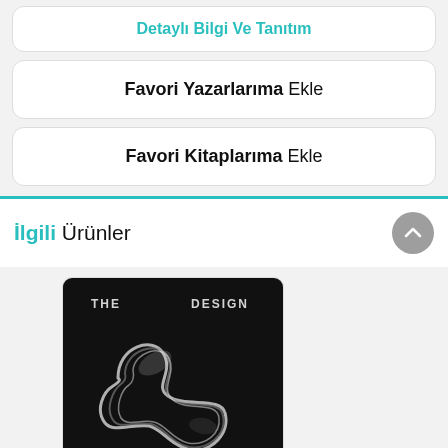Detaylı Bilgi Ve Tanıtım
Favori Yazarlarıma Ekle
Favori Kitaplarıma Ekle
İlgili Ürünler
[Figure (photo): Book cover with black background showing 'THE DESIGN' text and an abstract white flowing shape]